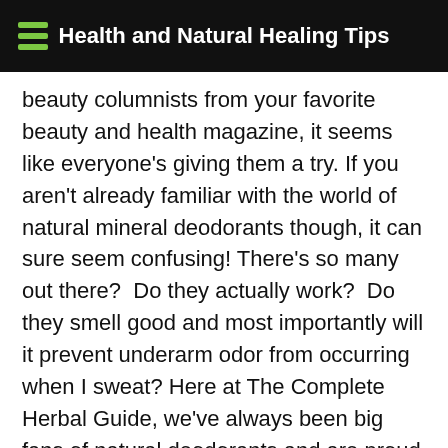Health and Natural Healing Tips
beauty columnists from your favorite beauty and health magazine, it seems like everyone's giving them a try. If you aren't already familiar with the world of natural mineral deodorants though, it can sure seem confusing! There's so many out there?  Do they actually work?  Do they smell good and most importantly will it prevent underarm odor from occurring when I sweat? Here at The Complete Herbal Guide, we've always been big fans of natural deodorants and are proud to test them and let you know what we really think of them. This week I tried a mineral